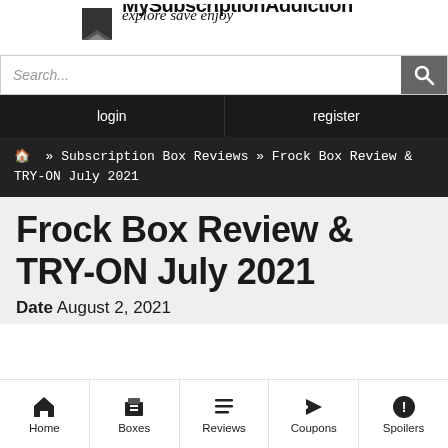explore save enjoy
Search...
login   register
🏠 » Subscription Box Reviews » Frock Box Review & TRY-ON July 2021
Frock Box Review & TRY-ON July 2021
Date August 2, 2021
Home  Boxes  Reviews  Coupons  Spoilers